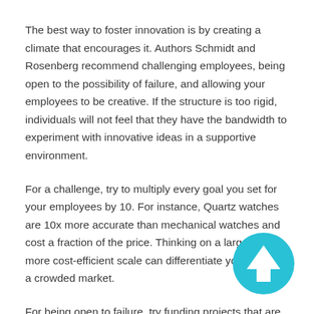The best way to foster innovation is by creating a climate that encourages it. Authors Schmidt and Rosenberg recommend challenging employees, being open to the possibility of failure, and allowing your employees to be creative. If the structure is too rigid, individuals will not feel that they have the bandwidth to experiment with innovative ideas in a supportive environment.
For a challenge, try to multiply every goal you set for your employees by 10. For instance, Quartz watches are 10x more accurate than mechanical watches and cost a fraction of the price. Thinking on a larger and more cost-efficient scale can differentiate your brand in a crowded market.
For being open to failure, try funding projects that are experimental or higher-risk. At Google, 10% of